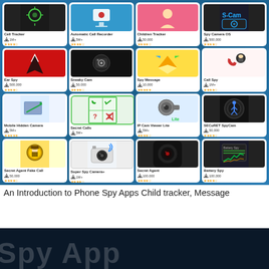[Figure (screenshot): A 4x4 grid of Android spy and tracking app icons on a blue background. Row 1: Cell Tracker (1M+ downloads, 3.5 stars), Automatic Call Recorder (5M+ downloads, 3.5 stars), Children Tracker (50,000 downloads, 3.5 stars), Spy Camera OS (500,000 downloads, 3.5 stars). Row 2: Ear Spy (500,000 downloads, 4 stars), Sneaky Cam (50,000 downloads, 4 stars), Spy Message (10,000 downloads, 4.5 stars), Call Spy (1M+ downloads, 3.5 stars). Row 3: Mobile Hidden Camera (5M+ downloads, 4 stars), Secret Calls (5M+ downloads, 3.5 stars), IP Cam Viewer Lite (5M+ downloads, 4 stars), SECuRET SpyCam (50,000 downloads, 4 stars). Row 4: Secret Agent Fake Call (50,000 downloads, 3.5 stars), Super Spy Camera+ (1M+ downloads, 4 stars), Secret Agent (100,000 downloads, 4 stars), Battery Spy (100,000 downloads, 4 stars).]
An Introduction to Phone Spy Apps Child tracker, Message
[Figure (screenshot): Partial view of a dark-themed webpage or app with large white text on a dark blue/black background, partially visible at the bottom of the page.]